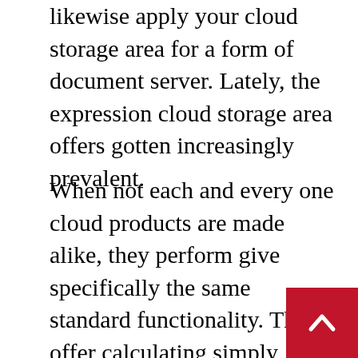likewise apply your cloud storage area for a form of document server. Lately, the expression cloud storage area offers gotten increasingly prevalent.
When not each and every one cloud products are made alike, they perform give specifically the same standard functionality. They offer calculating simply because a system rather than a item, essentially delivering your very own personal hard drive in the cloud, or web based. Most cloud storage area corporations give you with a limited number of free space, in the hopes you will update when you go out and hint because much seeing that a ongoing deal. Various cloud storage businesses express they either encrypt info before is actually published or when it could placed. A few services store simply a specific type of information, which